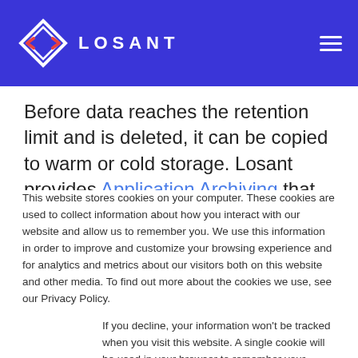[Figure (logo): Losant logo with geometric diamond/infinity symbol in white and red, followed by LOSANT text in white on blue background, with hamburger menu icon on right]
Before data reaches the retention limit and is deleted, it can be copied to warm or cold storage. Losant provides Application Archiving that automatically copies data from hot storage to a
This website stores cookies on your computer. These cookies are used to collect information about how you interact with our website and allow us to remember you. We use this information in order to improve and customize your browsing experience and for analytics and metrics about our visitors both on this website and other media. To find out more about the cookies we use, see our Privacy Policy.
If you decline, your information won't be tracked when you visit this website. A single cookie will be used in your browser to remember your preference not to be tracked.
Accept
Decline